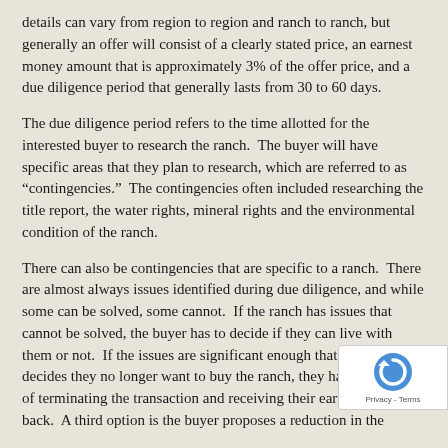details can vary from region to region and ranch to ranch, but generally an offer will consist of a clearly stated price, an earnest money amount that is approximately 3% of the offer price, and a due diligence period that generally lasts from 30 to 60 days.
The due diligence period refers to the time allotted for the interested buyer to research the ranch.  The buyer will have specific areas that they plan to research, which are referred to as “contingencies.”  The contingencies often included researching the title report, the water rights, mineral rights and the environmental condition of the ranch.
There can also be contingencies that are specific to a ranch.  There are almost always issues identified during due diligence, and while some can be solved, some cannot.  If the ranch has issues that cannot be solved, the buyer has to decide if they can live with them or not.  If the issues are significant enough that the buyer decides they no longer want to buy the ranch, they have the option of terminating the transaction and receiving their earnest money back.  A third option is the buyer proposes a reduction in the purchase price prior to the expiration of the due diligence...